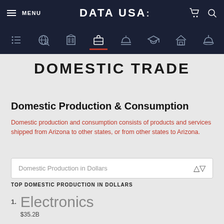MENU | DATA USA: | (cart) (search)
[Figure (screenshot): Navigation icon bar with 8 icons: list, globe search, building, briefcase (active with red underline), dome/government, graduation cap, house, hard hat]
DOMESTIC TRADE
Domestic Production & Consumption
Domestic production and consumption consists of products and services shipped from Arizona to other states, or from other states to Arizona.
Domestic Production in Dollars
TOP DOMESTIC PRODUCTION IN DOLLARS
1. Electronics $35.2B